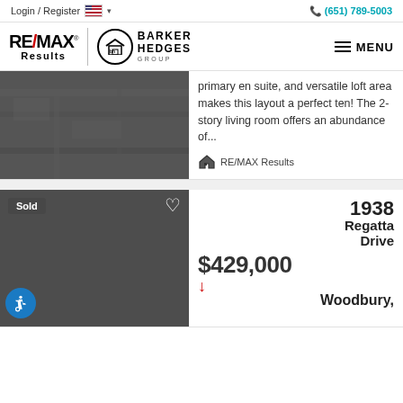Login / Register | (651) 789-5003
[Figure (logo): RE/MAX Results and Barker Hedges Group logos with MENU hamburger button]
primary en suite, and versatile loft area makes this layout a perfect ten! The 2-story living room offers an abundance of...
RE/MAX Results
[Figure (photo): Dark grey property map or satellite image thumbnail for first listing]
[Figure (photo): Dark grey property photo thumbnail for second listing with Sold badge]
Sold
1938 Regatta Drive
$429,000
Woodbury,